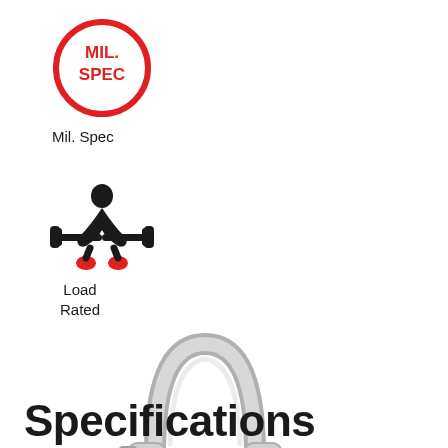[Figure (logo): Mil. Spec circular badge logo with red border, red text MIL. SPEC in center]
Mil. Spec
[Figure (illustration): Silhouette icon of a person lifting weights with red accents (Load Rated icon)]
Load
Rated
[Figure (photo): Photograph of a stainless steel bow shackle with bolt pin and cotter pin]
Specifications